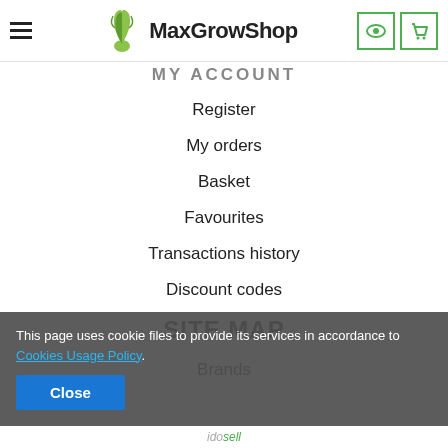MaxGrowShop – site header with hamburger menu, logo, eye icon, cart icon
MY ACCOUNT (partially visible)
Register
My orders
Basket
Favourites
Transactions history
Discount codes
SITE MAP
Brands
This page uses cookie files to provide its services in accordance to Cookies Usage Policy.
Close